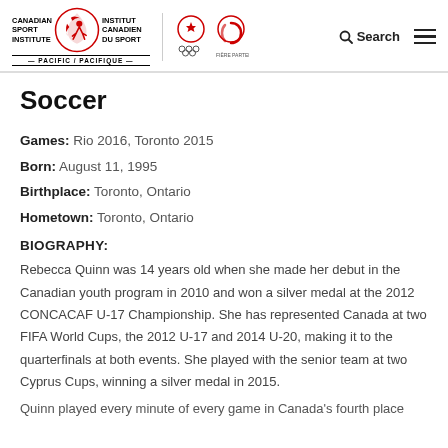[Figure (logo): Canadian Sport Institute Pacific logo with Institut Canadien du Sport, Canadian Olympic Committee and Canadian Paralympic Committee logos]
Soccer
Games: Rio 2016, Toronto 2015
Born: August 11, 1995
Birthplace: Toronto, Ontario
Hometown: Toronto, Ontario
BIOGRAPHY:
Rebecca Quinn was 14 years old when she made her debut in the Canadian youth program in 2010 and won a silver medal at the 2012 CONCACAF U-17 Championship. She has represented Canada at two FIFA World Cups, the 2012 U-17 and 2014 U-20, making it to the quarterfinals at both events. She played with the senior team at two Cyprus Cups, winning a silver medal in 2015. Quinn played every minute of every game in Canada's fourth place…